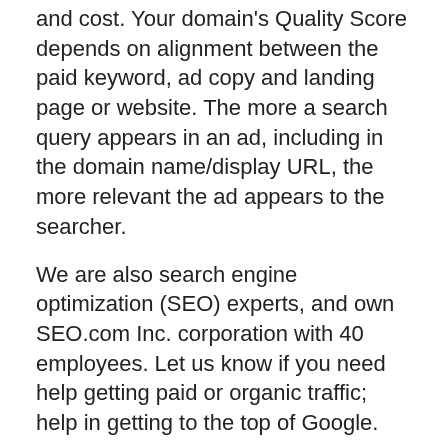and cost. Your domain's Quality Score depends on alignment between the paid keyword, ad copy and landing page or website. The more a search query appears in an ad, including in the domain name/display URL, the more relevant the ad appears to the searcher.
We are also search engine optimization (SEO) experts, and own SEO.com Inc. corporation with 40 employees. Let us know if you need help getting paid or organic traffic; help in getting to the top of Google.
Buy DeepSpaceOne.com now!
Leave a message